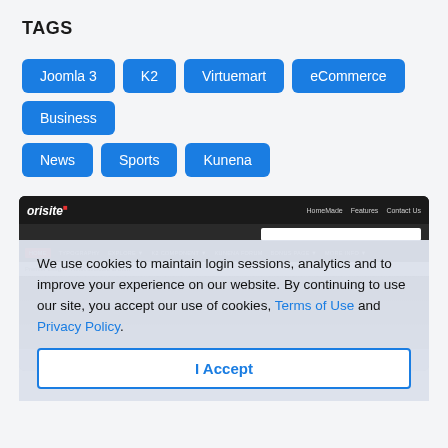TAGS
Joomla 3
K2
Virtuemart
eCommerce
Business
News
Sports
Kunena
[Figure (screenshot): Website screenshot of 'orisite' Joomla template showing navigation bar, search bar, menu, and sports hero image. Overlaid by a cookie consent dialog.]
We use cookies to maintain login sessions, analytics and to improve your experience on our website. By continuing to use our site, you accept our use of cookies, Terms of Use and Privacy Policy.
I Accept